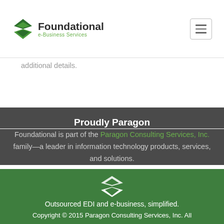Foundational e-Business Services
The next stage is the "LimitedUse" organization, which is ... the initial stage grants ... Stay tuned for a new post in the next couple days with additional details.
Proudly Paragon
Foundational is part of the Paragon Consulting Services, Inc. family—a leader in information technology products, services, and solutions.
[Figure (logo): Foundational e-Business Services logo in white on green background]
Outsourced EDI and e-business, simplified.
Copyright © 2015 Paragon Consulting Services, Inc. All